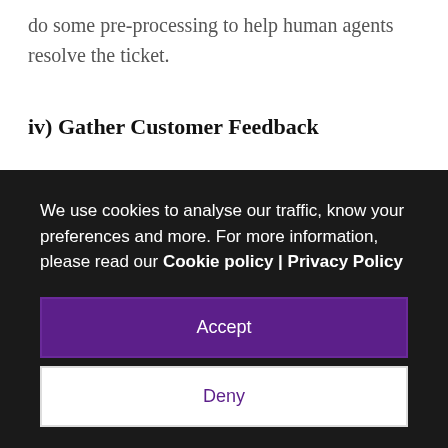do some pre-processing to help human agents resolve the ticket.
iv) Gather Customer Feedback
We use cookies to analyse our traffic, know your preferences and more. For more information, please read our Cookie policy | Privacy Policy
Accept
Deny
Chatbots help customers in easily tracking the shipping of orders by just inputting the shipping Id thereby